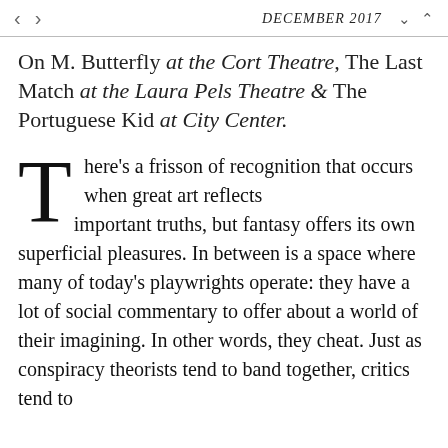DECEMBER 2017
On M. Butterfly at the Cort Theatre, The Last Match at the Laura Pels Theatre & The Portuguese Kid at City Center.
There’s a frisson of recognition that occurs when great art reflects important truths, but fantasy offers its own superficial pleasures. In between is a space where many of today’s playwrights operate: they have a lot of social commentary to offer about a world of their imagining. In other words, they cheat. Just as conspiracy theorists tend to band together, critics tend to